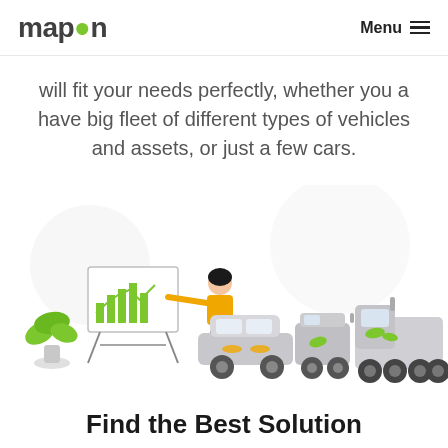mapon | Menu
will fit your needs perfectly, whether you a have big fleet of different types of vehicles and assets, or just a few cars.
[Figure (illustration): Illustration showing a woman presenting at a whiteboard with charts, alongside vehicles: a car, a van, and a large truck, with green plant decorations.]
Find the Best Solution